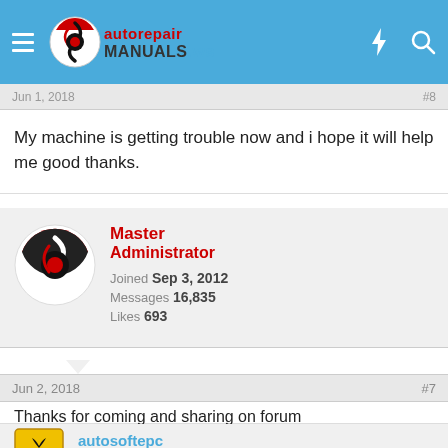AutoRepairManuals.ws
Jun 1, 2018   #8
My machine is getting trouble now and i hope it will help me good thanks.
[Figure (other): User avatar for Master Administrator - circular logo with S symbol in red and black]
Master Administrator
Joined Sep 3, 2012
Messages 16,835
Likes 693
Jun 2, 2018   #7
Thanks for coming and sharing on forum
[Figure (logo): Ferrari-style prancing horse logo avatar for autosoftepc]
autosoftepc
VIP Member
Joined Apr 4, 2018